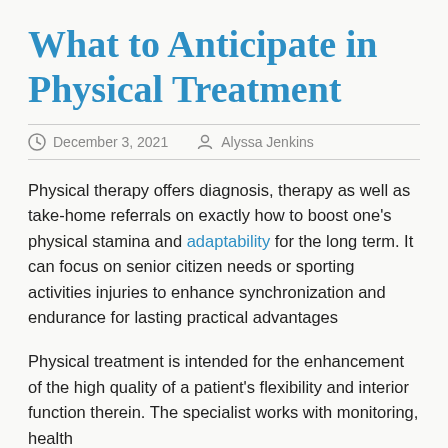What to Anticipate in Physical Treatment
December 3, 2021   Alyssa Jenkins
Physical therapy offers diagnosis, therapy as well as take-home referrals on exactly how to boost one's physical stamina and adaptability for the long term. It can focus on senior citizen needs or sporting activities injuries to enhance synchronization and endurance for lasting practical advantages
Physical treatment is intended for the enhancement of the high quality of a patient's flexibility and interior function therein. The specialist works with monitoring, health